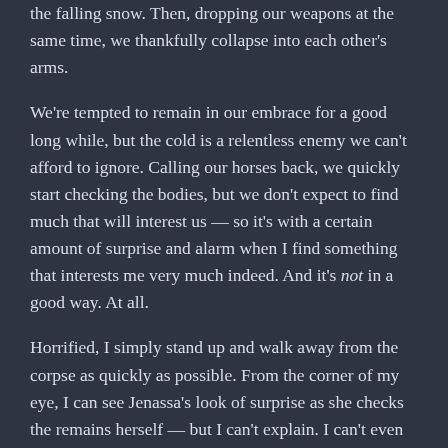the falling snow.  Then, dropping our weapons at the same time, we thankfully collapse into each other's arms.
We're tempted to remain in our embrace for a good long while, but the cold is a relentless enemy we can't afford to ignore.  Calling our horses back, we quickly start checking the bodies, but we don't expect to find much that will interest us — so it's with a certain amount of surprise and alarm when I find something that interests me very much indeed.  And it's not in a good way.  At all.
Horrified, I simply stand up and walk away from the corpse as quickly as possible.  From the corner of my eye, I can see Jenassa's look of surprise as she checks the remains herself — but I can't explain.  I can't even speak to her.  I just need to find Frost and get away.  Far, far away.
And I'll try very hard to forget what I saw — but I doubt that'll be happening any time soon.